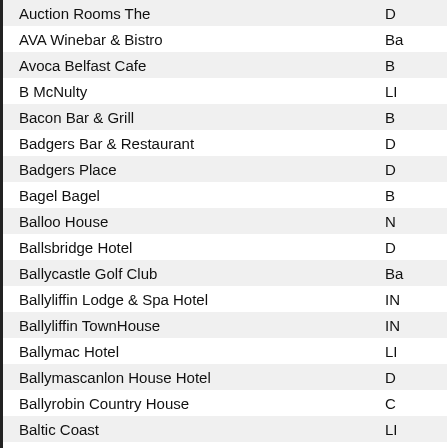| Name | Location |
| --- | --- |
| Auction Rooms The | D... |
| AVA Winebar & Bistro | Ba... |
| Avoca Belfast Cafe | B... |
| B McNulty | LI... |
| Bacon Bar & Grill | B... |
| Badgers Bar & Restaurant | D... |
| Badgers Place | D... |
| Bagel Bagel | B... |
| Balloo House | N... |
| Ballsbridge Hotel | D... |
| Ballycastle Golf Club | Ba... |
| Ballyliffin Lodge & Spa Hotel | IN... |
| Ballyliffin TownHouse | IN... |
| Ballymac Hotel | LI... |
| Ballymascanlon House Hotel | D... |
| Ballyrobin Country House | C... |
| Baltic Coast | LI... |
| Bambou | Ba... |
| Banbridge Golf Club | B... |